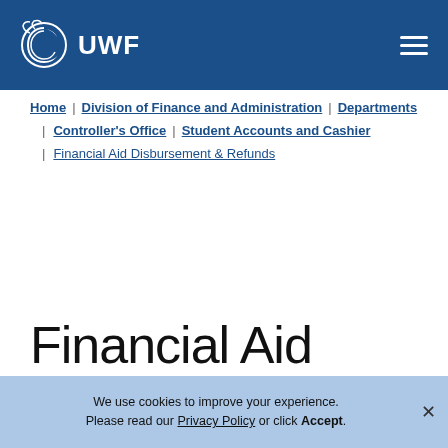[Figure (logo): UWF logo with spiral shell icon and UWF text in white on dark blue header bar]
UWF header navigation bar with hamburger menu
Home | Division of Finance and Administration | Departments | Controller's Office | Student Accounts and Cashier | Financial Aid Disbursement & Refunds
IN THIS SECTION
Financial Aid Disbursement
We use cookies to improve your experience. Please read our Privacy Policy or click Accept.